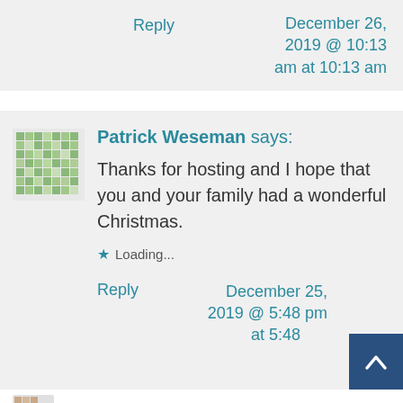Reply
December 26, 2019 @ 10:13 am at 10:13 am
[Figure (illustration): Green pixel/mosaic pattern avatar icon]
Patrick Weseman says:
Thanks for hosting and I hope that you and your family had a wonderful Christmas.
Loading...
Reply
December 25, 2019 @ 5:48 pm at 5:48 pm
[Figure (illustration): Small avatar icon at bottom]
[Figure (illustration): Back to top button arrow]